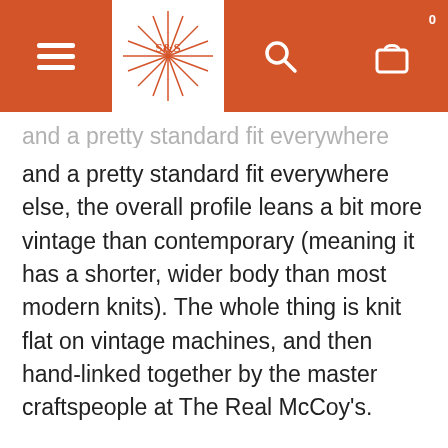[Figure (logo): S&S starburst logo with orange color in the center of the header navigation bar]
and a pretty standard fit everywhere else, the overall profile leans a bit more vintage than contemporary (meaning it has a shorter, wider body than most modern knits). The whole thing is knit flat on vintage machines, and then hand-linked together by the master craftspeople at The Real McCoy's.
Fits true to size. Spot clean or dry clean only.
95% wool / 5% cashmere
Heavyweight knit
Zip cowichan pattern